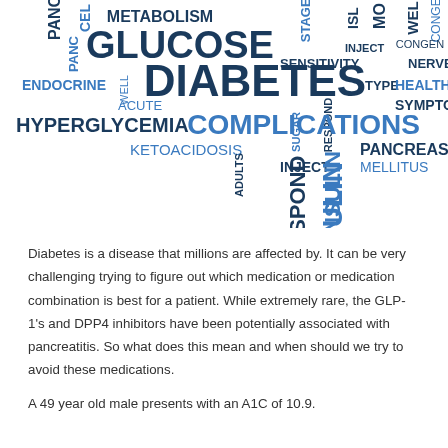[Figure (infographic): Word cloud related to diabetes featuring terms like GLUCOSE, DIABETES, COMPLICATIONS, INSULIN, HYPERGLYCEMIA, METABOLISM, PANCREAS, MELLITUS, KETOACIDOSIS, SENSITIVITY, NERVE, HEALTHCARE, SYMPTOMS, RESPOND, INJECT, ENDOCRINE, ADULTS, SUGAR, STAGES, TYPE, ACUTE, WELL, CELL, PANC, CONGEN, ISL, MO in various sizes and shades of blue and dark navy.]
Diabetes is a disease that millions are affected by. It can be very challenging trying to figure out which medication or medication combination is best for a patient.  While extremely rare, the GLP-1's and DPP4 inhibitors have been potentially associated with pancreatitis.  So what does this mean and when should we try to avoid these medications.
A 49 year old male presents with an A1C of 10.9.